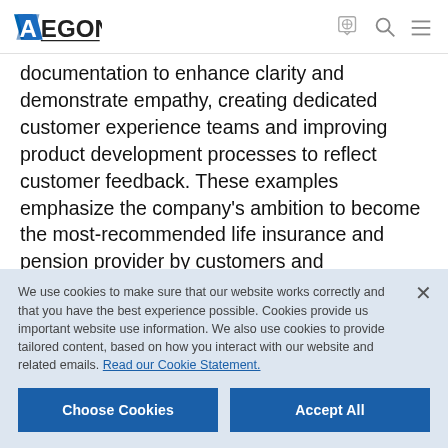AEGON
documentation to enhance clarity and demonstrate empathy, creating dedicated customer experience teams and improving product development processes to reflect customer feedback. These examples emphasize the company's ambition to become the most-recommended life insurance and pension provider by customers and distributors.
We use cookies to make sure that our website works correctly and that you have the best experience possible. Cookies provide us important website use information. We also use cookies to provide tailored content, based on how you interact with our website and related emails. Read our Cookie Statement.